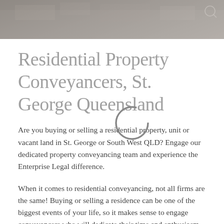[Figure (photo): Aerial photograph of a suburban/urban area, used as a banner image at the top of the page, with a grey overlay and a loading spinner circle visible on top of the title area.]
Residential Property Conveyancers, St. George Queensland
Are you buying or selling a residential property, unit or vacant land in St. George or South West QLD? Engage our dedicated property conveyancing team and experience the Enterprise Legal difference.
When it comes to residential conveyancing, not all firms are the same! Buying or selling a residence can be one of the biggest events of your life, so it makes sense to engage conveyancers who will dedicate their time and enthusiasm to making your transaction smooth, efficient and stress-free — an experience t